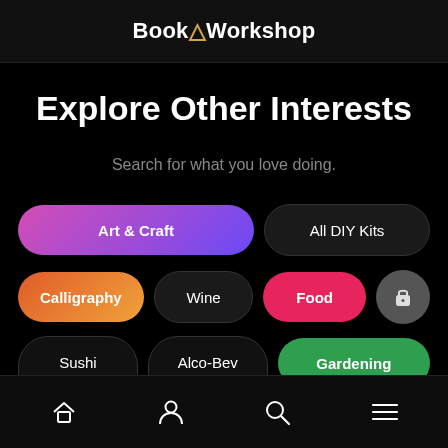BookAWorkshop
Explore Other Interests
Search for what you love doing.
Art & Craft
All DIY Kits
Calligraphy
Wine
Food
Sushi
Alco-Bev
Gardening
Home | Profile | Search | Menu